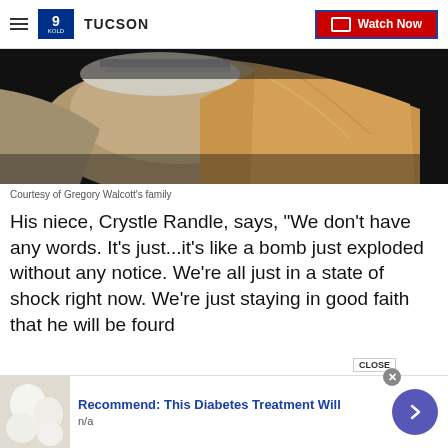KOLD 9 TUCSON | Watch Now
[Figure (photo): Blurred close-up photo of a person wearing a beige/tan jacket and striped collar, against a dark background]
Courtesy of Gregory Walcott's family
His niece, Crystle Randle, says, "We don't have any words. It's just...it's like a bomb just exploded without any notice. We're all just in a state of shock right now. We're just staying in good faith that he will be found alive."
[Figure (photo): Advertisement thumbnail showing white eggs or round white objects. Ad text: Recommend: This Diabetes Treatment Will - n/a]